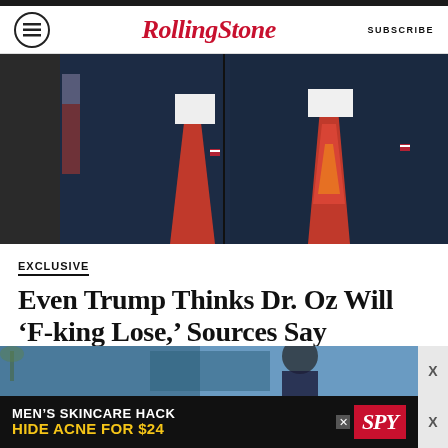Rolling Stone — SUBSCRIBE
[Figure (photo): Two men in dark suits with ties (one red, one multicolored floral), visible from shoulders to chin, with American flags in background]
EXCLUSIVE
Even Trump Thinks Dr. Oz Will 'F-king Lose,' Sources Say
BY ASAWIN SUEBSAENG AND ADAM RAWNSLEY
[Figure (photo): Advertisement: MEN'S SKINCARE HACK HIDE ACNE FOR $24 — SPY brand ad with background photo]